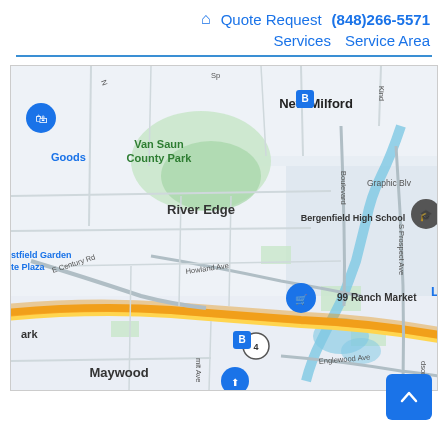🏠 Quote Request  (848)266-5571   Services  Service Area
[Figure (map): Street map showing River Edge, New Milford, Van Saun County Park, Bergenfield High School, 99 Ranch Market, Maywood, and surrounding area in New Jersey. Features roads including E Century Rd, Howland Ave, Englewood Ave, S Prospect Ave, major highway Route 4, and a river running through the area.]
Back to top button (chevron up arrow)